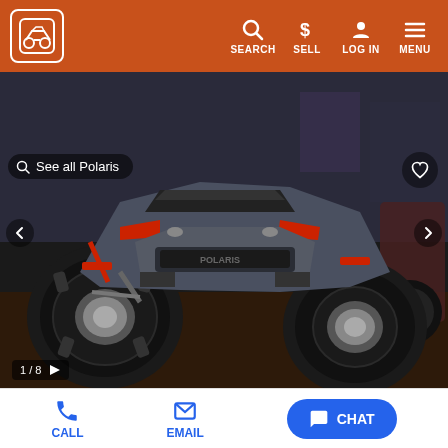Cycle Trader — SEARCH SELL LOG IN MENU
[Figure (screenshot): ATV listing page showing a 2022 Polaris Sport ATV with large mud tires, grey and red color scheme, in a dealership showroom. Image shows 1/8 photos.]
See all Polaris
New 2022 Polaris Sport
CALL   EMAIL   CHAT